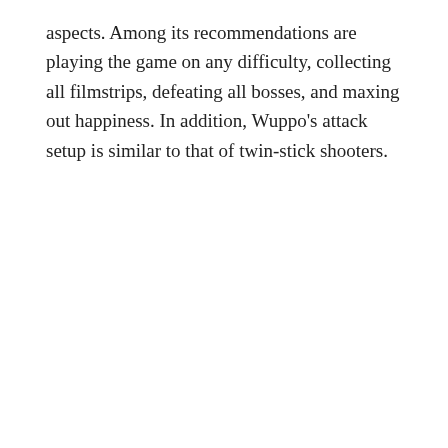aspects. Among its recommendations are playing the game on any difficulty, collecting all filmstrips, defeating all bosses, and maxing out happiness. In addition, Wuppo's attack setup is similar to that of twin-stick shooters.